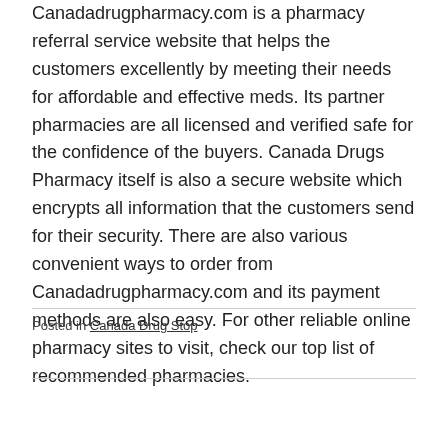Canadadrugpharmacy.com is a pharmacy referral service website that helps the customers excellently by meeting their needs for affordable and effective meds. Its partner pharmacies are all licensed and verified safe for the confidence of the buyers. Canada Drugs Pharmacy itself is also a secure website which encrypts all information that the customers send for their security. There are also various convenient ways to order from Canadadrugpharmacy.com and its payment methods are also easy. For other reliable online pharmacy sites to visit, check our top list of recommended pharmacies.
Posted in Canada Drug Stop